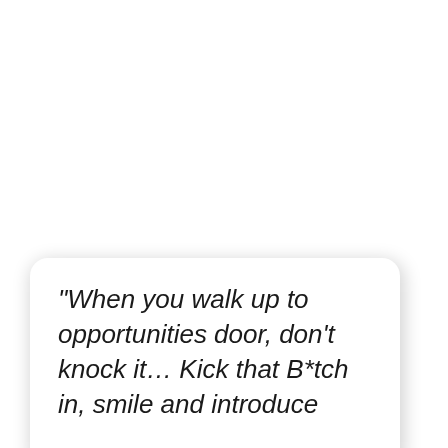“When you walk up to opportunities door, don’t knock it…  Kick that B*tch in, smile and introduce